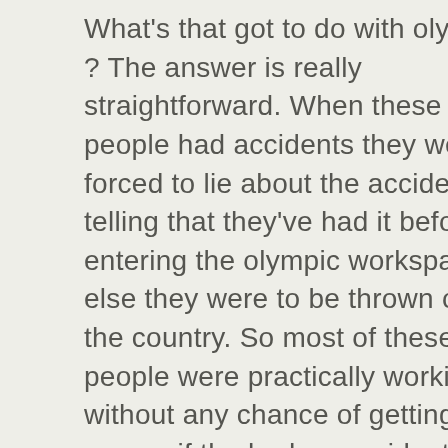What's that got to do with olympics ? The answer is really straightforward. When these people had accidents they were forced to lie about the accident, by telling that they've had it before entering the olympic workspaces, else they were to be thrown out of the country. So most of these people were practically working without any chance of getting some money if the had an accident. The whole matter was of course not covered by major newspapers/media because they wouldn't be given the infamous 'olympic